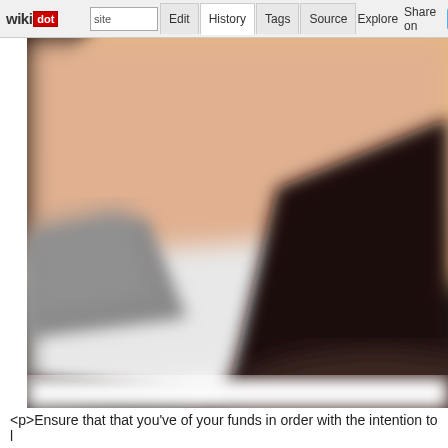wikidot | site Edit History Tags Source Explore Share on Twitter
[Figure (photo): Close-up blurred photo of a person's arm/wrist area wearing a white shirt and grey jacket sleeve, against a dark brown/black background, likely a business professional setting.]
<p>Ensure that that you've of your funds in order with the intention to l